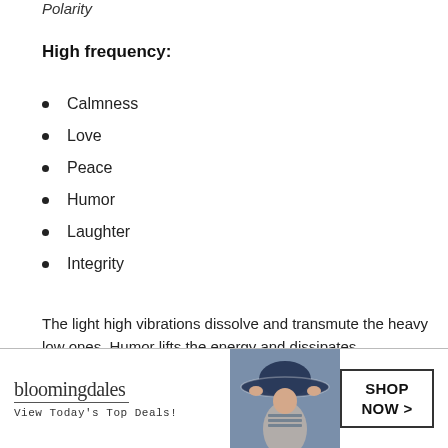Polarity
High frequency:
Calmness
Love
Peace
Humor
Laughter
Integrity
The light high vibrations dissolve and transmute the heavy low ones. Humor lifts the energy and dissipates
[Figure (photo): Bloomingdale's advertisement banner showing logo, 'View Today's Top Deals!' tagline, woman wearing a wide brim hat, and a 'SHOP NOW >' button]